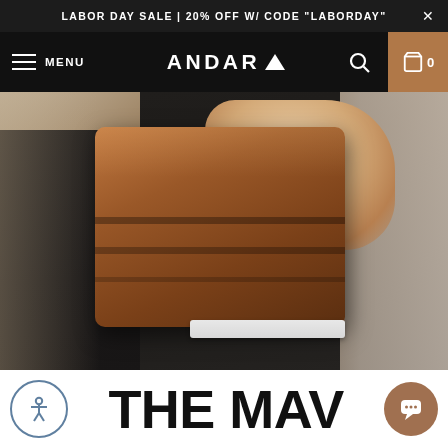LABOR DAY SALE | 20% OFF W/ CODE "LABORDAY"  ×
MENU  ANDAR  🔍  🛍 0
[Figure (photo): Person in black pants holding a brown leather iPad case/folio. The leather case has horizontal strap lines and an Apple Pencil slot visible at the bottom. Background is a blurred room interior.]
THE MAV